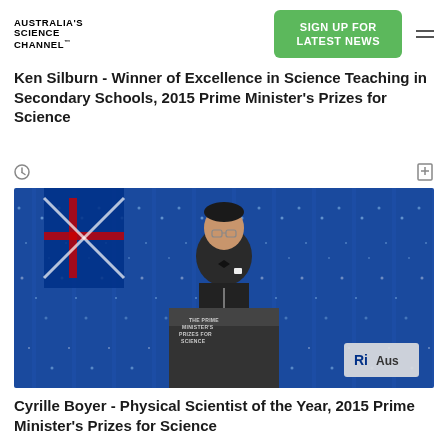AUSTRALIA'S SCIENCE CHANNEL™
Ken Silburn - Winner of Excellence in Science Teaching in Secondary Schools, 2015 Prime Minister's Prizes for Science
[Figure (photo): Man in tuxedo speaking at a podium labeled 'THE PRIME MINISTER'S PRIZES FOR SCIENCE' against a blue sparkling curtain backdrop with an Australian flag visible. Ri Aus logo in bottom right corner.]
Cyrille Boyer - Physical Scientist of the Year, 2015 Prime Minister's Prizes for Science